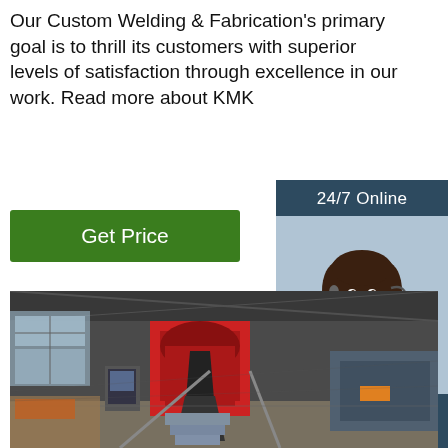Our Custom Welding & Fabrication's primary goal is to thrill its customers with superior levels of satisfaction through excellence in our work. Read more about KMK
Get Price
24/7 Online
[Figure (photo): Customer service representative with headset smiling]
Click here for free chat !
QUOTATION
[Figure (photo): Industrial fabrication factory interior with metal forming machinery and steel components]